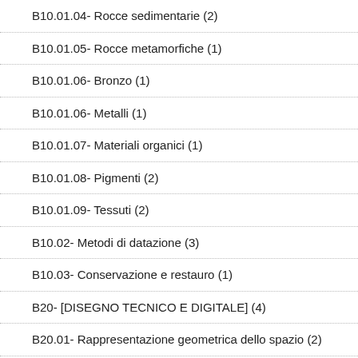B10.01.04- Rocce sedimentarie (2)
B10.01.05- Rocce metamorfiche (1)
B10.01.06- Bronzo (1)
B10.01.06- Metalli (1)
B10.01.07- Materiali organici (1)
B10.01.08- Pigmenti (2)
B10.01.09- Tessuti (2)
B10.02- Metodi di datazione (3)
B10.03- Conservazione e restauro (1)
B20- [DISEGNO TECNICO E DIGITALE] (4)
B20.01- Rappresentazione geometrica dello spazio (2)
B20.02- Plastici e modellismo (1)
B20.03- Archeologia computazionale (2)